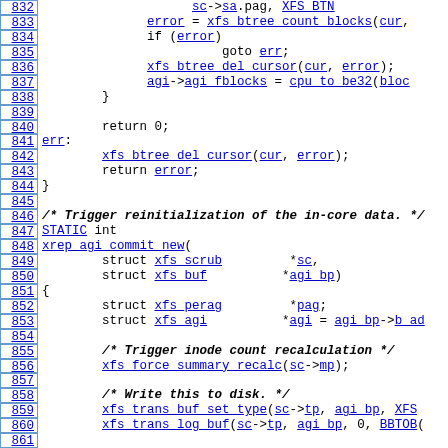[Figure (screenshot): Source code listing lines 832–861 of a C kernel file, showing XFS filesystem repair functions xrep_agi_commit_new with line numbers, blue hyperlinked identifiers, and italic bold comments.]